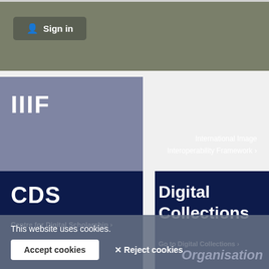[Figure (screenshot): Sign in button with user icon on dark olive/gray top bar]
[Figure (screenshot): IIIF card: International Image Interoperability Framework link on blue-gray background with notch at bottom]
[Figure (screenshot): CDS card: Centre for Digital Scholarship link on dark navy background with notch at bottom]
[Figure (screenshot): Digital Collections card: Go to Digital Collections link on dark navy background]
This website uses cookies.
Accept cookies
✕ Reject cookies
Organisation